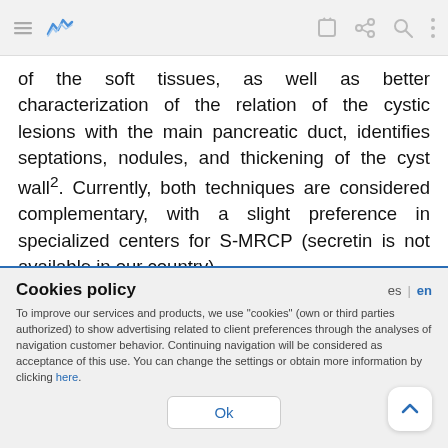[Mobile app toolbar with menu, logo, edit, share, search, and more icons]
of the soft tissues, as well as better characterization of the relation of the cystic lesions with the main pancreatic duct, identifies septations, nodules, and thickening of the cyst wall². Currently, both techniques are considered complementary, with a slight preference in specialized centers for S-MRCP (secretin is not available in our country).
Cookies policy
To improve our services and products, we use "cookies" (own or third parties authorized) to show advertising related to client preferences through the analyses of navigation customer behavior. Continuing navigation will be considered as acceptance of this use. You can change the settings or obtain more information by clicking here.